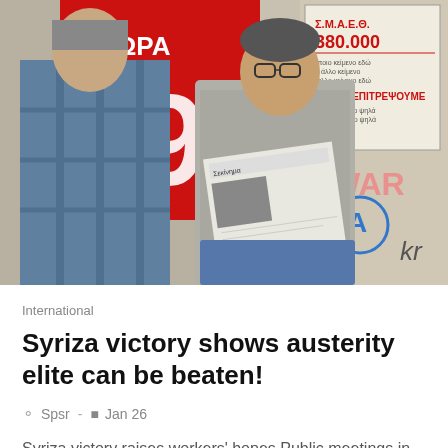[Figure (photo): Two men in an outdoor urban setting. One man in a plaid shirt seen from behind, another man in a grey t-shirt holding a newspaper/leaflet. Background shows red posters with Greek text including 'ΤΩΡΑ ΟΛΑ', '9', 'ΣΑΚ 29', 'Σ.Μ.Α.Ε.Θ. 380.000' and graffiti on a wall reading 'WAR' with blue anarchist symbol.]
International
Syriza victory shows austerity elite can be beaten!
Spsr -  Jan 26
Syriza victory raises workers' hopes Public meetings in Oxford, Southampton, Reading and Portsmouth